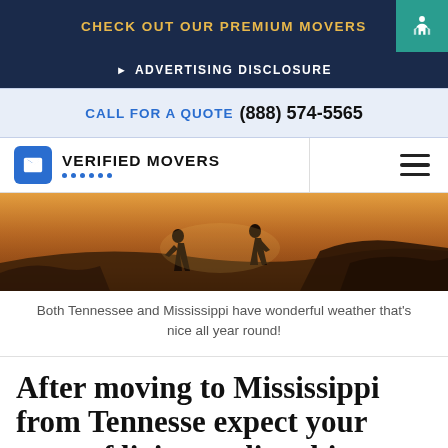CHECK OUT OUR PREMIUM MOVERS
ADVERTISING DISCLOSURE
CALL FOR A QUOTE (888) 574-5565
[Figure (logo): Verified Movers logo with blue checkbox icon and dotted underline, plus hamburger menu icon on the right]
[Figure (photo): Two people walking at sunset/golden hour on an outdoor trail, silhouetted against warm orange sky]
Both Tennessee and Mississippi have wonderful weather that's nice all year round!
After moving to Mississippi from Tennesse expect your costs of living to dip a bit